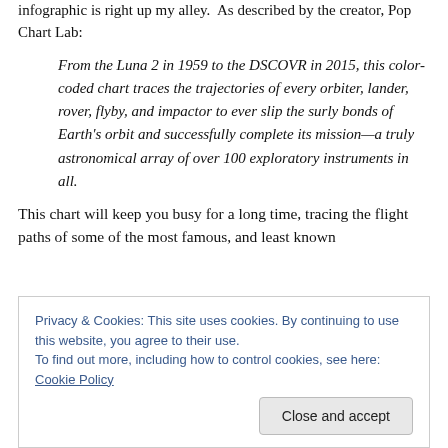infographic is right up my alley.  As described by the creator, Pop Chart Lab:
From the Luna 2 in 1959 to the DSCOVR in 2015, this color-coded chart traces the trajectories of every orbiter, lander, rover, flyby, and impactor to ever slip the surly bonds of Earth's orbit and successfully complete its mission—a truly astronomical array of over 100 exploratory instruments in all.
This chart will keep you busy for a long time, tracing the flight paths of some of the most famous, and least known
Privacy & Cookies: This site uses cookies. By continuing to use this website, you agree to their use.
To find out more, including how to control cookies, see here: Cookie Policy